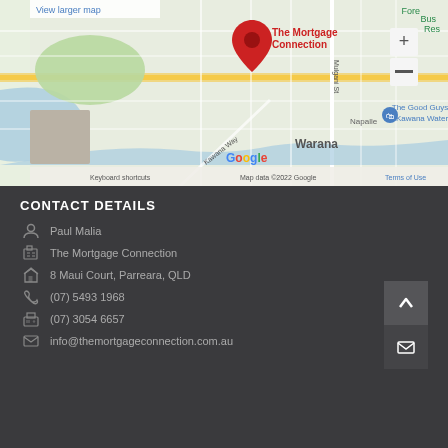[Figure (map): Google Maps screenshot showing The Mortgage Connection location in Kawana Waters/Warana area, Queensland. Red pin marker labeled 'The Mortgage Connection'. Shows The Good Guys Kawana Waters nearby. Map data 2022 Google. Includes zoom controls (+/-) and a street view thumbnail.]
CONTACT DETAILS
Paul Malia
The Mortgage Connection
8 Maui Court, Parreara, QLD
(07) 5493 1968
(07) 3054 6657
info@themortgageconnection.com.au